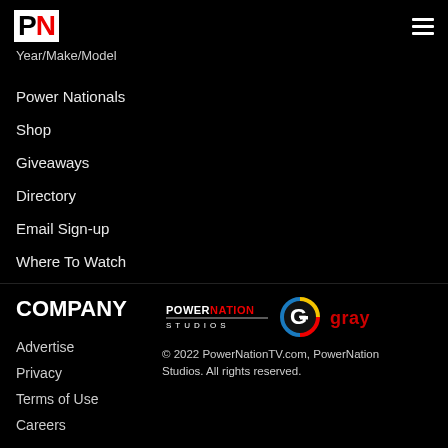PN logo + hamburger menu
Year/Make/Model
Power Nationals
Shop
Giveaways
Directory
Email Sign-up
Where To Watch
Host Search
Vehicles For Sale
COMPANY
Advertise
Privacy
Terms of Use
Careers
[Figure (logo): PowerNation Studios logo and Gray Television logo]
© 2022 PowerNationTV.com, PowerNation Studios. All rights reserved.